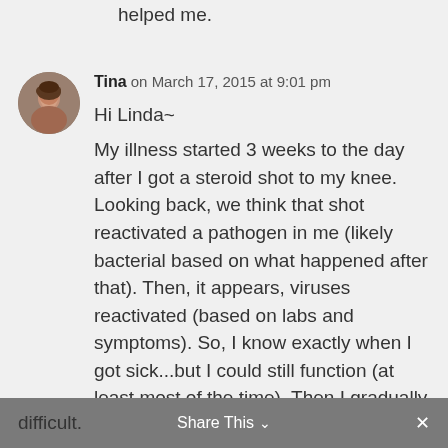helped me.
Tina on March 17, 2015 at 9:01 pm
Hi Linda~
My illness started 3 weeks to the day after I got a steroid shot to my knee. Looking back, we think that shot reactivated a pathogen in me (likely bacterial based on what happened after that). Then, it appears, viruses reactivated (based on labs and symptoms). So, I know exactly when I got sick...but I could still function (at least most of the time). Then I gradually got worse and worse until functioning was very difficult.
difficult.  Share This  ×